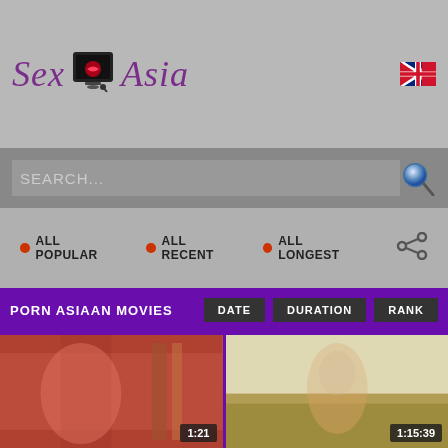[Figure (logo): SexAsia website logo with stylized text and TV monitor icon, purple/italic font]
[Figure (logo): UK flag icon in top right corner]
SEARCH...
ALL POPULAR   ALL RECENT   ALL LONGEST
PORN ASIAAN MOVIES
DATE   DURATION   RANK
[Figure (photo): Video thumbnail showing adult content, duration 1:21]
[Figure (photo): Video thumbnail showing adult content, duration 1:15:39]